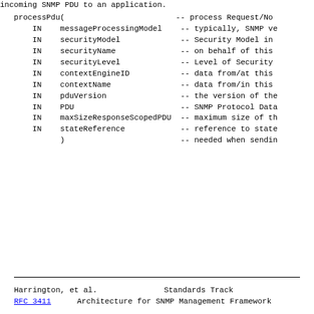incoming SNMP PDU to an application.
processPdu(
    IN    messageProcessingModel    -- typically, SNMP ve
    IN    securityModel              -- Security Model in
    IN    securityName               -- on behalf of this
    IN    securityLevel              -- Level of Security
    IN    contextEngineID            -- data from/at this
    IN    contextName                -- data from/in this
    IN    pduVersion                 -- the version of the
    IN    PDU                        -- SNMP Protocol Data
    IN    maxSizeResponseScopedPDU   -- maximum size of th
    IN    stateReference             -- reference to state
          )                          -- needed when sendin
Harrington, et al.                    Standards Track
RFC 3411      Architecture for SNMP Management Framework